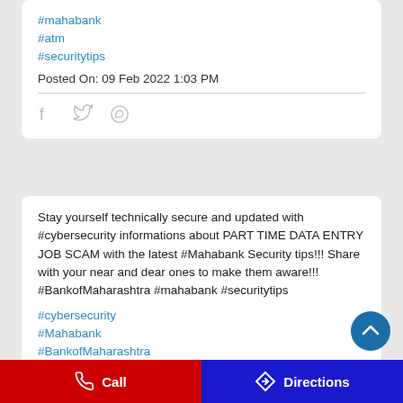#mahabank
#atm
#securitytips
Posted On: 09 Feb 2022 1:03 PM
[Figure (other): Social share icons: Facebook, Twitter, WhatsApp]
Stay yourself technically secure and updated with #cybersecurity informations about PART TIME DATA ENTRY JOB SCAM with the latest #Mahabank Security tips!!! Share with your near and dear ones to make them aware!!! #BankofMaharashtra #mahabank #securitytips
#cybersecurity
#Mahabank
#BankofMaharashtra
#mahabank
Call   Directions